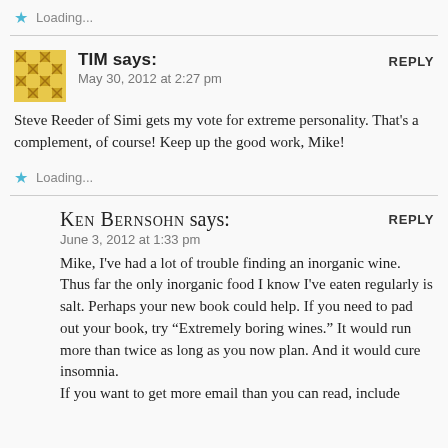Loading...
TIM says:
May 30, 2012 at 2:27 pm
REPLY
Steve Reeder of Simi gets my vote for extreme personality. That's a complement, of course! Keep up the good work, Mike!
Loading...
KEN BERNSOHN says:
June 3, 2012 at 1:33 pm
REPLY
Mike, I've had a lot of trouble finding an inorganic wine. Thus far the only inorganic food I know I've eaten regularly is salt. Perhaps your new book could help. If you need to pad out your book, try "Extremely boring wines." It would run more than twice as long as you now plan. And it would cure insomnia. If you want to get more email than you can read, include